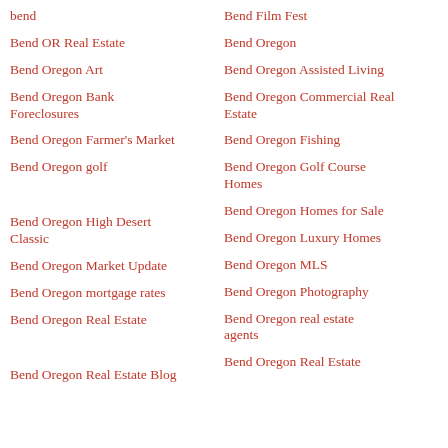bend
Bend Film Fest
Bend OR Real Estate
Bend Oregon
Bend Oregon Art
Bend Oregon Assisted Living
Bend Oregon Bank Foreclosures
Bend Oregon Commercial Real Estate
Bend Oregon Farmer's Market
Bend Oregon Fishing
Bend Oregon golf
Bend Oregon Golf Course Homes
Bend Oregon High Desert Classic
Bend Oregon Homes for Sale
Bend Oregon Luxury Homes
Bend Oregon Market Update
Bend Oregon MLS
Bend Oregon mortgage rates
Bend Oregon Photography
Bend Oregon Real Estate
Bend Oregon real estate agents
Bend Oregon Real Estate Blog
Bend Oregon Real Estate